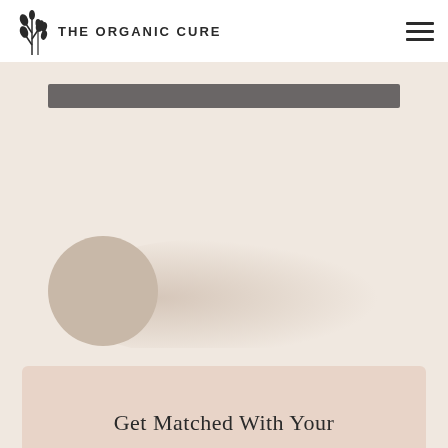THE ORGANIC CURE
[Figure (photo): Hero image area with a blurred avatar/person silhouette on a warm beige background, with a dark gray decorative bar at the top]
Get Matched With Your